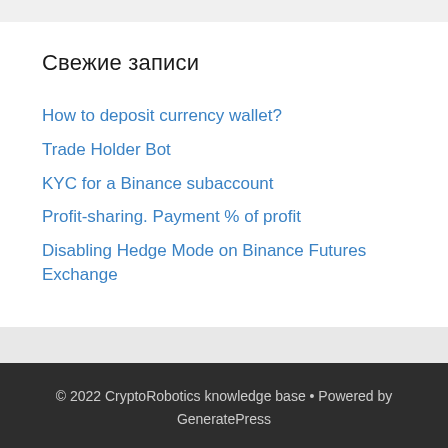Свежие записи
How to deposit currency wallet?
Trade Holder Bot
KYC for a Binance subaccount
Profit-sharing. Payment % of profit
Disabling Hedge Mode on Binance Futures Exchange
© 2022 CryptoRobotics knowledge base • Powered by GeneratePress